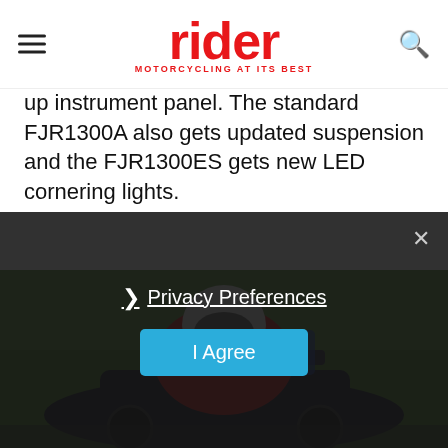rider — MOTORCYCLING AT ITS BEST
up instrument panel. The standard FJR1300A also gets updated suspension and the FJR1300ES gets new LED cornering lights.
[Figure (photo): Motorcycle rider in red jacket and helmet leaning on a sport-touring motorcycle on a green grassy road, photographed from above and slightly behind.]
Privacy Preferences
I Agree